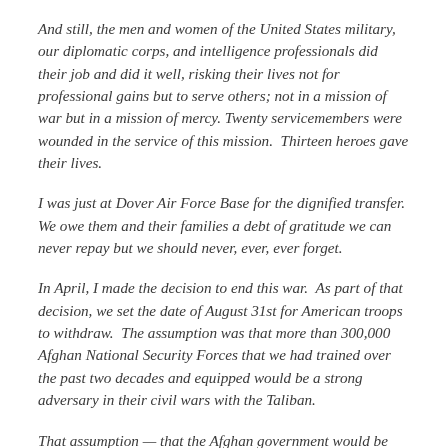And still, the men and women of the United States military, our diplomatic corps, and intelligence professionals did their job and did it well, risking their lives not for professional gains but to serve others; not in a mission of war but in a mission of mercy. Twenty servicemembers were wounded in the service of this mission.  Thirteen heroes gave their lives.
I was just at Dover Air Force Base for the dignified transfer.  We owe them and their families a debt of gratitude we can never repay but we should never, ever, ever forget.
In April, I made the decision to end this war.  As part of that decision, we set the date of August 31st for American troops to withdraw.  The assumption was that more than 300,000 Afghan National Security Forces that we had trained over the past two decades and equipped would be a strong adversary in their civil wars with the Taliban.
That assumption — that the Afghan government would be able to